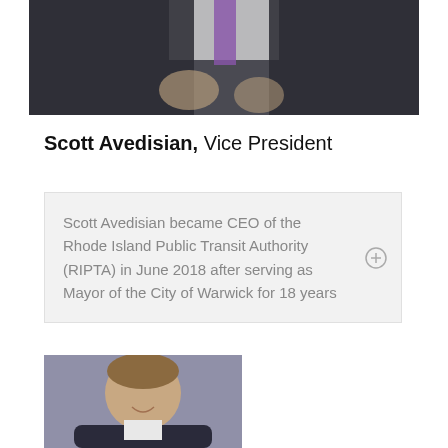[Figure (photo): Top portion of a person in a dark suit, partial view showing lower body/hands with a purple tie]
Scott Avedisian, Vice President
Scott Avedisian became CEO of the Rhode Island Public Transit Authority (RIPTA) in June 2018 after serving as Mayor of the City of Warwick for 18 years
[Figure (photo): Portrait photo of Scott Avedisian, a man with short brown hair wearing a dark suit, smiling, against a gray background]